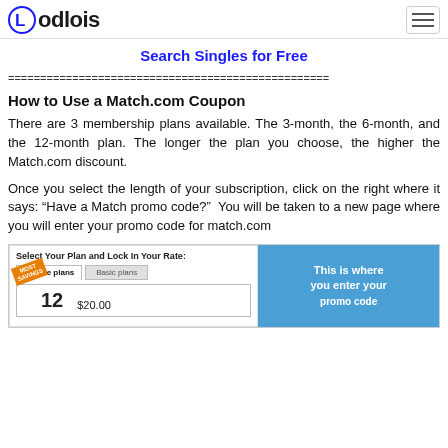Lodlois
Search Singles for Free
================================================
How to Use a Match.com Coupon
There are 3 membership plans available. The 3-month, the 6-month, and the 12-month plan. The longer the plan you choose, the higher the Match.com discount.
Once you select the length of your subscription, click on the right where it says: “Have a Match promo code?”  You will be taken to a new page where you will enter your promo code for match.com
[Figure (screenshot): Screenshot of Match.com plan selection page showing Bundle plans and Basic plans tabs, a 12-month plan with $20.00 price, and a blue sidebar saying 'This is where you enter your promo code']